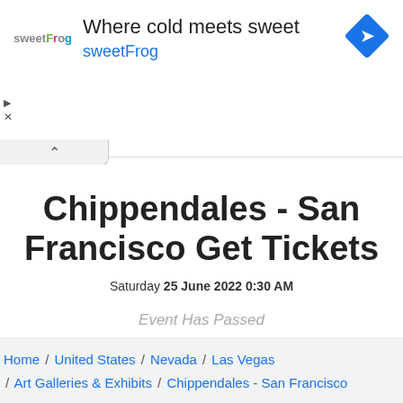[Figure (other): sweetFrog advertisement banner with logo, headline 'Where cold meets sweet', brand name 'sweetFrog', and a Google Maps direction diamond icon. Includes play/close icons and a collapse tab with up-arrow.]
Chippendales - San Francisco Get Tickets
Saturday 25 June 2022 0:30 AM
Event Has Passed
Home / United States / Nevada / Las Vegas / Art Galleries & Exhibits / Chippendales - San Francisco